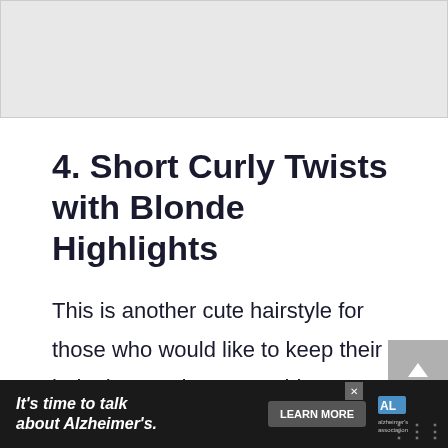[Figure (photo): Gray placeholder image area at top of page]
4. Short Curly Twists with Blonde Highlights
This is another cute hairstyle for those who would like to keep their hair short and manageable. Your hair obviously becomes quite manageable and can be protected well when you tie it up in braids li...
[Figure (other): Advertisement banner: It's time to talk about Alzheimer's. with Learn More button and Alzheimer's Association logo]